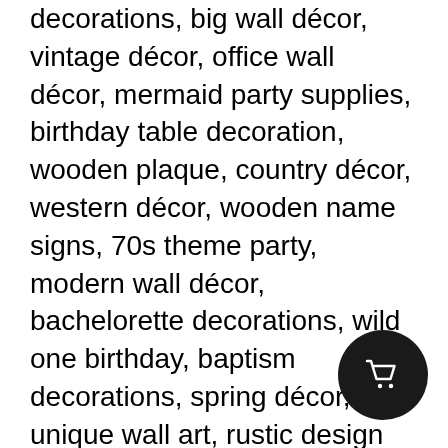decorations, big wall décor, vintage décor, office wall décor, mermaid party supplies, birthday table decoration, wooden plaque, country décor, western décor, wooden name signs, 70s theme party, modern wall décor, bachelorette decorations, wild one birthday, baptism decorations, spring décor, unique wall art, rustic design sign, vintage home décor, office wall art, cute office sign, bohemian living room, jungle theme party, retirement decoration, rustic farmhouse décor, wood décor, magnolia home décor, pineapple décor, industrial décor, gothic home décor, unicorn party decorations, casino theme party, minimalist décor, cinco de mayo decorations, beach house décor, lemon kitchen décor, bohemian style décor, elephant décor, carnival theme party, mouse party decoration, home wall décor, plant décor, retirement party decoration, home office accessories, party backdrop, unique home décor, style living room, fall home décor, garden party decorations, eclectic décor, sweet 16 decorations, Christmas party decoration, Halloween table décor, gothic décor, dining room decoration, wine wall